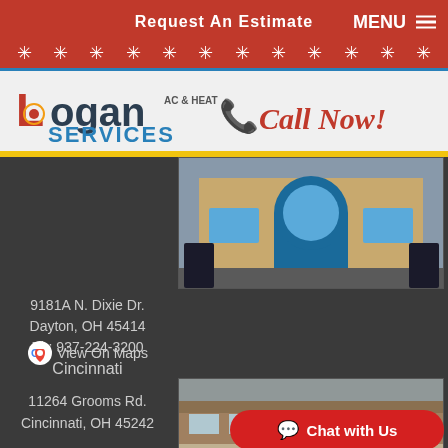Request An Estimate   MENU
[Figure (logo): Logan AC & Heat Services logo with red L, dark OGAN text, small AC & HEAT text, and blue SERVICES text]
Call Now!
[Figure (photo): Exterior photo of Logan Services Dayton office building with arched entrance]
9181A N. Dixie Dr.
Dayton, OH 45414
Ph: 937-224-3200
View On Maps
Cincinnati
[Figure (photo): Exterior photo of Logan Services Cincinnati office with white and black vans parked outside]
11264 Grooms Rd.
Cincinnati, OH 45242
Chat with Us